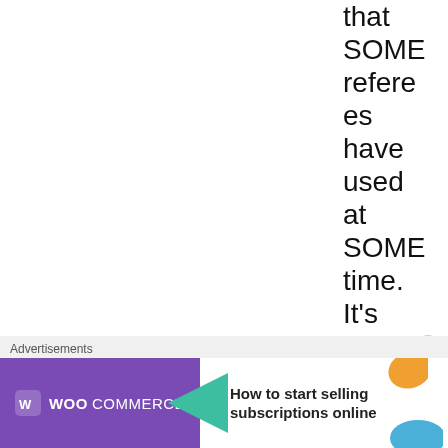that SOME referees have used at SOME time. It's not official, and there's no
Advertisements
[Figure (other): WooCommerce advertisement banner: 'How to start selling subscriptions online']